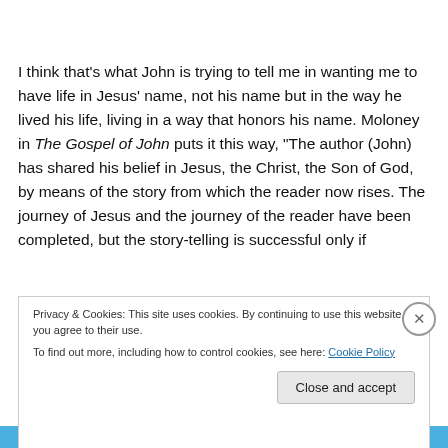I think that's what John is trying to tell me in wanting me to have life in Jesus' name, not his name but in the way he lived his life, living in a way that honors his name. Moloney in The Gospel of John puts it this way, "The author (John) has shared his belief in Jesus, the Christ, the Son of God, by means of the story from which the reader now rises. The journey of Jesus and the journey of the reader have been completed, but the story-telling is successful only if
Privacy & Cookies: This site uses cookies. By continuing to use this website, you agree to their use.
To find out more, including how to control cookies, see here: Cookie Policy